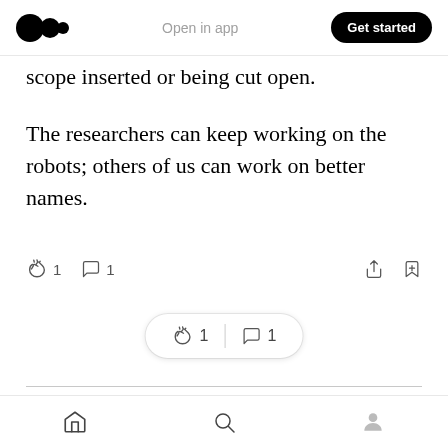Medium app header — logo, Open in app, Get started
scope inserted or being cut open.
The researchers can keep working on the robots; others of us can work on better names.
[Figure (screenshot): Article action bar with clap icon (1), comment icon (1), share icon, and save/bookmark icon]
[Figure (screenshot): Floating pill with clap icon (1) and comment icon (1)]
Sign up for CrunchX
Bottom navigation bar with home, search, and profile icons